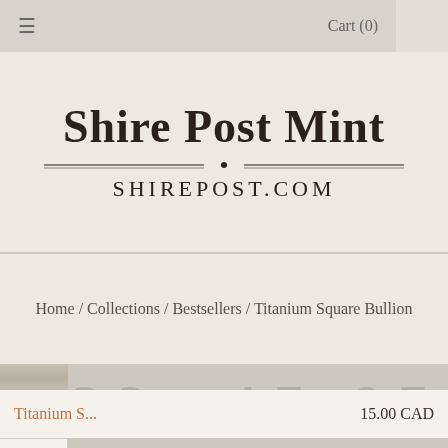≡   Cart (0)
Shire Post Mint
shirepost.com
Home / Collections / Bestsellers / Titanium Square Bullion
[Figure (photo): Product image strip showing Titanium Square Bullion coins with embossed numbers 22 and 47.87 visible]
Titanium S...   15.00 CAD
1